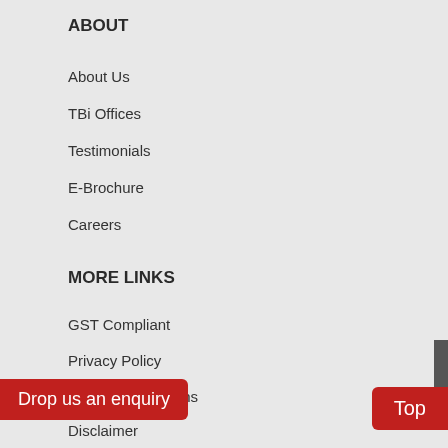ABOUT
About Us
TBi Offices
Testimonials
E-Brochure
Careers
MORE LINKS
GST Compliant
Privacy Policy
Terms & Conditions
Disclaimer
Drop us an enquiry
Top